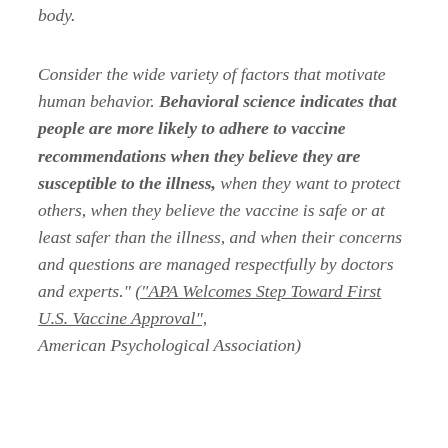body.
Consider the wide variety of factors that motivate human behavior. Behavioral science indicates that people are more likely to adhere to vaccine recommendations when they believe they are susceptible to the illness, when they want to protect others, when they believe the vaccine is safe or at least safer than the illness, and when their concerns and questions are managed respectfully by doctors and experts." ("APA Welcomes Step Toward First U.S. Vaccine Approval", American Psychological Association)